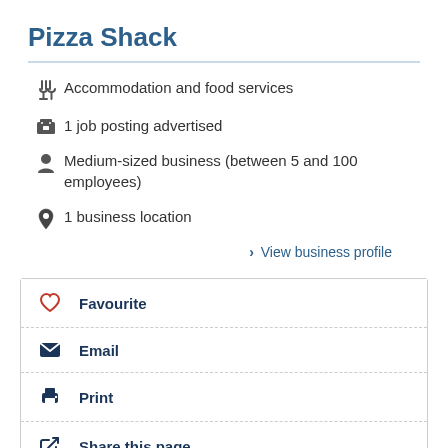Pizza Shack
Accommodation and food services
1 job posting advertised
Medium-sized business (between 5 and 100 employees)
1 business location
> View business profile
Favourite
Email
Print
Share this page